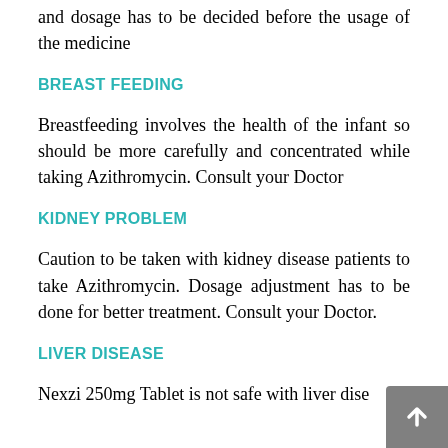and dosage has to be decided before the usage of the medicine
BREAST FEEDING
Breastfeeding involves the health of the infant so should be more carefully and concentrated while taking Azithromycin. Consult your Doctor
KIDNEY PROBLEM
Caution to be taken with kidney disease patients to take Azithromycin. Dosage adjustment has to be done for better treatment. Consult your Doctor.
LIVER DISEASE
Nexzi 250mg Tablet is not safe with liver dise...